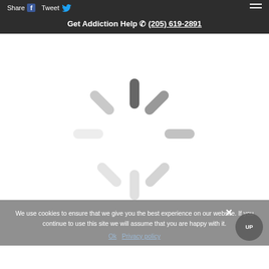Share  Tweet
Get Addiction Help (205) 619-2891
[Figure (illustration): Loading spinner graphic — radial spokes in dark gray on white background indicating content is loading]
We use cookies to ensure that we give you the best experience on our website. If you continue to use this site we will assume that you are happy with it.
Ok   Privacy policy